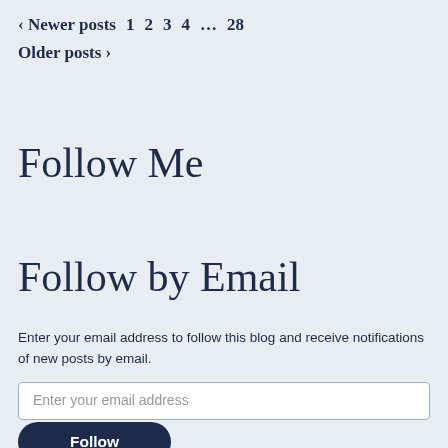‹ Newer posts  1  2  3  4  …  28  Older posts ›
Follow Me
Follow by Email
Enter your email address to follow this blog and receive notifications of new posts by email.
Enter your email address
Follow